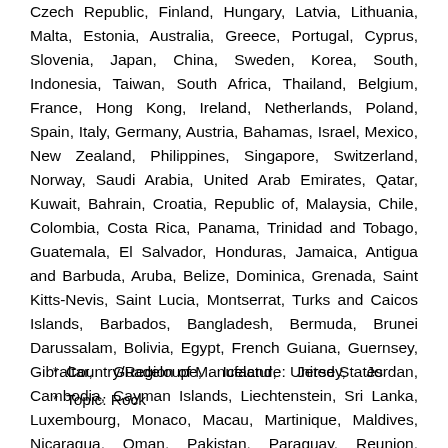Czech Republic, Finland, Hungary, Latvia, Lithuania, Malta, Estonia, Australia, Greece, Portugal, Cyprus, Slovenia, Japan, China, Sweden, Korea, South, Indonesia, Taiwan, South Africa, Thailand, Belgium, France, Hong Kong, Ireland, Netherlands, Poland, Spain, Italy, Germany, Austria, Bahamas, Israel, Mexico, New Zealand, Philippines, Singapore, Switzerland, Norway, Saudi Arabia, United Arab Emirates, Qatar, Kuwait, Bahrain, Croatia, Republic of, Malaysia, Chile, Colombia, Costa Rica, Panama, Trinidad and Tobago, Guatemala, El Salvador, Honduras, Jamaica, Antigua and Barbuda, Aruba, Belize, Dominica, Grenada, Saint Kitts-Nevis, Saint Lucia, Montserrat, Turks and Caicos Islands, Barbados, Bangladesh, Bermuda, Brunei Darussalam, Bolivia, Egypt, French Guiana, Guernsey, Gibraltar, Guadeloupe, Iceland, Jersey, Jordan, Cambodia, Cayman Islands, Liechtenstein, Sri Lanka, Luxembourg, Monaco, Macau, Martinique, Maldives, Nicaragua, Oman, Pakistan, Paraguay, Reunion, Uruguay, Dominican Republic.
Country/Region of Manufacture: United States
Topic: Rock